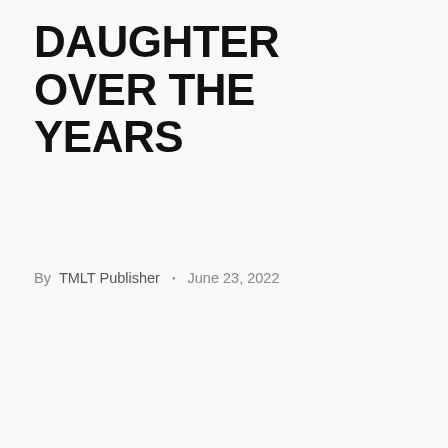ANGELINA'S DAUGHTER OVER THE YEARS
By TMLT Publisher • June 23, 2022